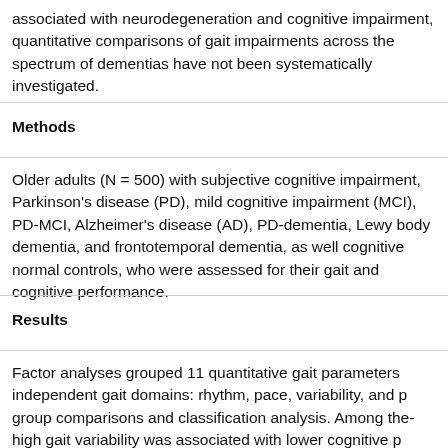associated with neurodegeneration and cognitive impairment, quantitative comparisons of gait impairments across the spectrum of dementias have not been systematically investigated.
Methods
Older adults (N = 500) with subjective cognitive impairment, Parkinson's disease (PD), mild cognitive impairment (MCI), PD-MCI, Alzheimer's disease (AD), PD-dementia, Lewy body dementia, and frontotemporal dementia, as well cognitive normal controls, who were assessed for their gait and cognitive performance.
Results
Factor analyses grouped 11 quantitative gait parameters into four independent gait domains: rhythm, pace, variability, and postural control for group comparisons and classification analysis. Among the gait domains, high gait variability was associated with lower cognitive performance and accurately discriminated AD from other neurodegenerative